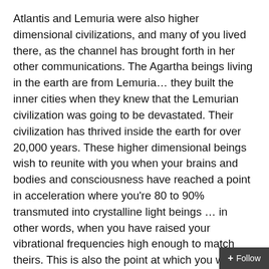Atlantis and Lemuria were also higher dimensional civilizations, and many of you lived there, as the channel has brought forth in her other communications. The Agartha beings living in the earth are from Lemuria… they built the inner cities when they knew that the Lemurian civilization was going to be devastated. Their civilization has thrived inside the earth for over 20,000 years. These higher dimensional beings wish to reunite with you when your brains and bodies and consciousness have reached a point in acceleration where you're 80 to 90% transmuted into crystalline light beings … in other words, when you have raised your vibrational frequencies high enough to match theirs. This is also the point at which you will meet your star families or reunite with your star families again it is the same with these higher dimensional beings of the universe and from other star systems such as Sirius the Pleiades Andromeda Arcturus and other star systems… it is the same, wherein the Hue- beings and Hue-mans must raise their vibrational
[Figure (other): Follow button widget in bottom-right corner]